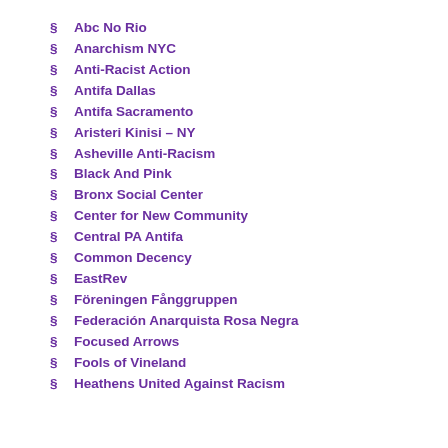§ Abc No Rio
§ Anarchism NYC
§ Anti-Racist Action
§ Antifa Dallas
§ Antifa Sacramento
§ Aristeri Kinisi – NY
§ Asheville Anti-Racism
§ Black And Pink
§ Bronx Social Center
§ Center for New Community
§ Central PA Antifa
§ Common Decency
§ EastRev
§ Föreningen Fånggruppen
§ Federación Anarquista Rosa Negra
§ Focused Arrows
§ Fools of Vineland
§ Heathens United Against Racism